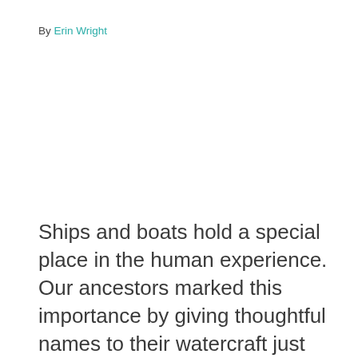By Erin Wright
Ships and boats hold a special place in the human experience. Our ancestors marked this importance by giving thoughtful names to their watercraft just